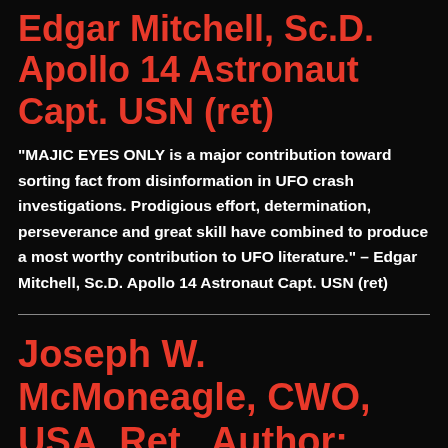Edgar Mitchell, Sc.D. Apollo 14 Astronaut Capt. USN (ret)
“MAJIC EYES ONLY is a major contribution toward sorting fact from disinformation in UFO crash investigations. Prodigious effort, determination, perseverance and great skill have combined to produce a most worthy contribution to UFO literature.” – Edgar Mitchell, Sc.D. Apollo 14 Astronaut Capt. USN (ret)
Joseph W. McMoneagle, CWO, USA, Ret., Author: Memoirs of a Psychic Spy
“MAJIC Eyes Only contains the same attention to detail and precise reporting I’ve watched Ryan Wood exercise from the fai…